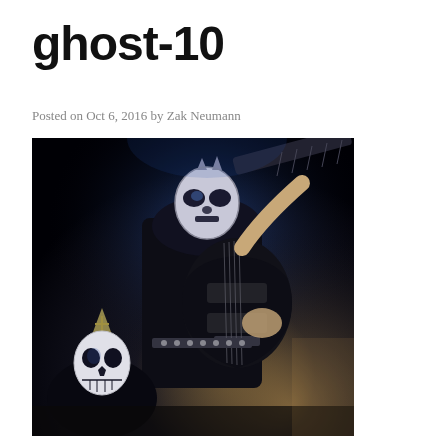ghost-10
Posted on Oct 6, 2016 by Zak Neumann
[Figure (photo): Concert photograph of masked musicians from the band Ghost performing on stage. The foreground shows a guitarist wearing a skeletal/demonic mask playing a black electric guitar under blue stage lighting. In the lower left, a second performer wearing a papal skull mask (Papa Emeritus) is visible. Dark background with dramatic lighting.]